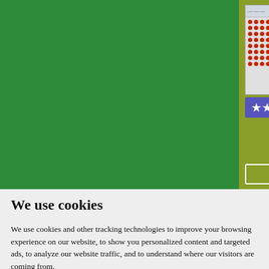[Figure (screenshot): Website screenshot showing a lottery software product (magayo Lotto) with a grid of red dots, 4.5 star rating in a purple box, product title in green, price FREE/Freeware, and keyword links.]
We use cookies
We use cookies and other tracking technologies to improve your browsing experience on our website, to show you personalized content and targeted ads, to analyze our website traffic, and to understand where our visitors are coming from.
I agree  Change my preferences